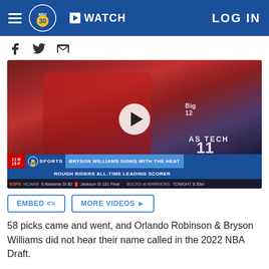abc30 WATCH LOG IN
[Figure (screenshot): Video thumbnail showing a Texas Tech basketball player (jersey #11) in action, with lower-third graphics reading 'BRYSON WILLIAMS SIGNS WITH THE HEAT' and 'ROUGH RIDERS ALL-TIME LEADING SCORER'. Play button overlay in center. ESPN score ticker at bottom.]
EMBED <>   MORE VIDEOS ▶
58 picks came and went, and Orlando Robinson & Bryson Williams did not hear their name called in the 2022 NBA Draft.